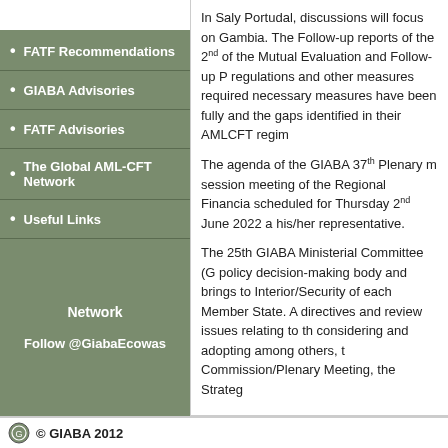FATF Recommendations
GIABA Advisories
FATF Advisories
The Global AML-CFT Network
Useful Links
Network
Follow @GiabaEcowas
In Saly Portudal, discussions will focus on Gambia. The Follow-up reports of the 2nd of the Mutual Evaluation and Follow-up P regulations and other measures required necessary measures have been fully and the gaps identified in their AMLCFT regim
The agenda of the GIABA 37th Plenary m session meeting of the Regional Financia scheduled for Thursday 2nd June 2022 a his/her representative.
The 25th GIABA Ministerial Committee (G policy decision-making body and brings to Interior/Security of each Member State. A directives and review issues relating to th considering and adopting among others, t Commission/Plenary Meeting, the Strateg
© GIABA 2012